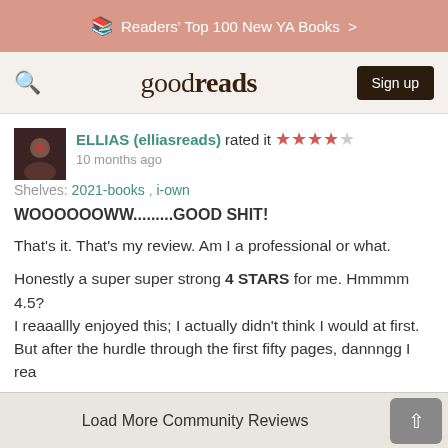Readers' Top 100 New YA Books >
[Figure (screenshot): Goodreads navigation bar with search icon, goodreads logo, and Sign up button]
ELLIAS (elliasreads) rated it ★★★★☆
10 months ago
Shelves: 2021-books , i-own
WOOOOOOWW.........GOOD SHIT!
That's it. That's my review. Am I a professional or what.
Honestly a super super strong 4 STARS for me. Hmmmm 4.5? I reaaallly enjoyed this; I actually didn't think I would at first. But after the hurdle through the first fifty pages, dannngg I rea ...more
Like · 👍299
Load More Community Reviews